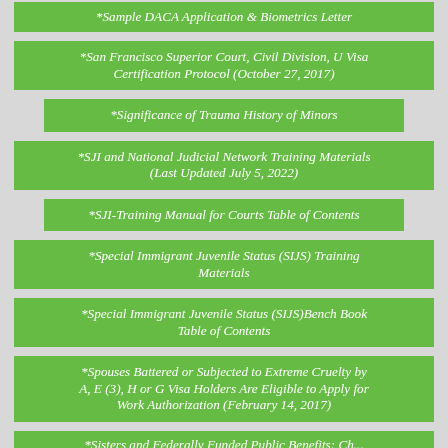*Sample DACA Application & Biometrics Letter
*San Francisco Superior Court, Civil Division, U Visa Certification Protocol (October 27, 2017)
*Significance of Trauma History of Minors
*SJI and National Judicial Network Training Materials (Last Updated July 5, 2022)
*SJI-Training Manual for Courts Table of Contents
*Special Immigrant Juvenile Status (SIJS) Training Materials
*Special Immigrant Juvenile Status (SIJS)Bench Book Table of Contents
*Spouses Battered or Subjected to Extreme Cruelty by A, E (3), H or G Visa Holders Are Eligible to Apply for Work Authorization (February 14, 2017)
*Sisters and Federally Funded Public Benefits: Ch...